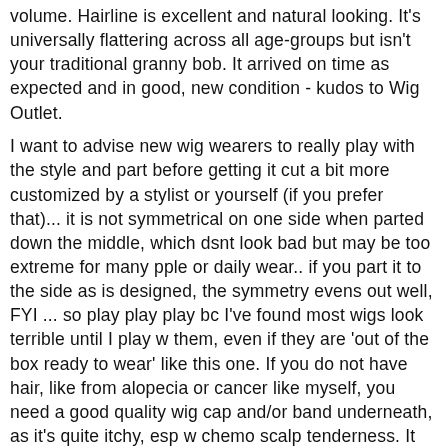volume. Hairline is excellent and natural looking. It's universally flattering across all age-groups but isn't your traditional granny bob. It arrived on time as expected and in good, new condition - kudos to Wig Outlet.
I want to advise new wig wearers to really play with the style and part before getting it cut a bit more customized by a stylist or yourself (if you prefer that)... it is not symmetrical on one side when parted down the middle, which dsnt look bad but may be too extreme for many pple or daily wear.. if you part it to the side as is designed, the symmetry evens out well, FYI ... so play play play bc I've found most wigs look terrible until I play w them, even if they are 'out of the box ready to wear' like this one. If you do not have hair, like from alopecia or cancer like myself, you need a good quality wig cap and/or band underneath, as it's quite itchy, esp w chemo scalp tenderness. It comes w a wig cap but I prefer my own more expensive bamboo and padded caps. I've not worn Jamesi yet in the summer but have chemo-induced menopause, so it can at times be a bit warm for